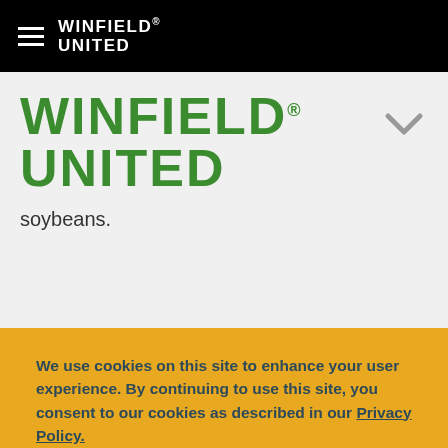WinField United
[Figure (logo): WinField United logo with green text and registered trademark]
soybeans.
We use cookies on this site to enhance your user experience. By continuing to use this site, you consent to our cookies as described in our Privacy Policy.
OK